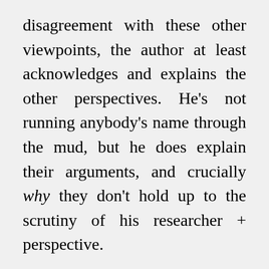disagreement with these other viewpoints, the author at least acknowledges and explains the other perspectives. He's not running anybody's name through the mud, but he does explain their arguments, and crucially why they don't hold up to the scrutiny of his researcher + perspective.
In fact, an entire chapter is devoted to dismantling a theory put forward by Noam Chomsky et al about language's supposed spontaneous evolution (I'm not sure if I've parsed the argument well enough to distill it